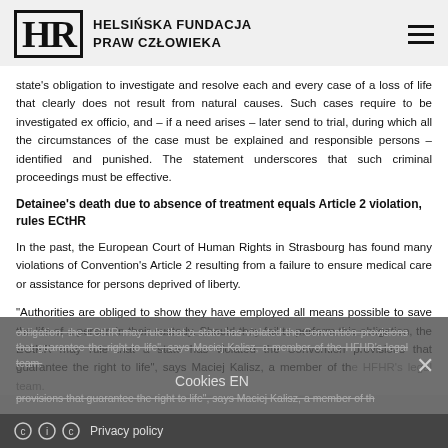HELSIŃSKA FUNDACJA PRAW CZŁOWIEKA
state's obligation to investigate and resolve each and every case of a loss of life that clearly does not result from natural causes. Such cases require to be investigated ex officio, and – if a need arises – later send to trial, during which all the circumstances of the case must be explained and responsible persons – identified and punished. The statement underscores that such criminal proceedings must be effective.
Detainee's death due to absence of treatment equals Article 2 violation, rules ECtHR
In the past, the European Court of Human Rights in Strasbourg has found many violations of Convention's Article 2 resulting from a failure to ensure medical care or assistance for persons deprived of liberty.
"Authorities are obliged to show they have employed all means possible to save the life of a person in their custody. Should they fail to perform this obligation, the ECtHR may rule that a state has violated the Convention provisions that guarantee the right to life", says Maciej Kalisz, a member of the HFHR's legal team.
Cookies EN   Privacy policy